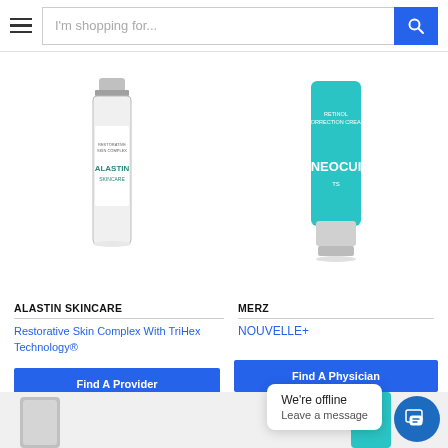[Figure (screenshot): E-commerce website header with hamburger menu, search bar with placeholder 'I'm shopping for...', and blue search button]
[Figure (photo): Alastin Skincare product bottle - white cylindrical bottle with silver cap]
[Figure (photo): Merz Neocuts product - teal/turquoise tube labeled Retinol Correction Cream with white cap]
ALASTIN SKINCARE
MERZ
Restorative Skin Complex With TriHex Technology®
NOUVELLE+
Find A Provider
Find A Physician
We're offline
Leave a message